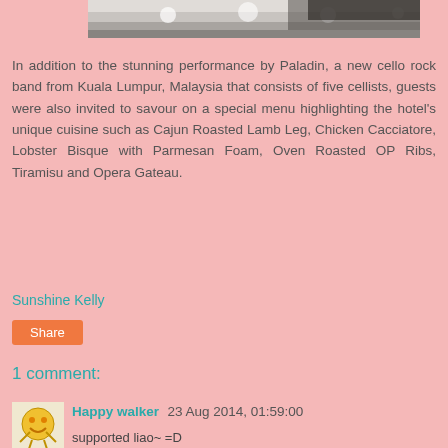[Figure (photo): Bottom portion of a photograph showing a lit surface with objects, partially cropped at the top of the page]
In addition to the stunning performance by Paladin, a new cello rock band from Kuala Lumpur, Malaysia that consists of five cellists, guests were also invited to savour on a special menu highlighting the hotel's unique cuisine such as Cajun Roasted Lamb Leg, Chicken Cacciatore, Lobster Bisque with Parmesan Foam, Oven Roasted OP Ribs, Tiramisu and Opera Gateau.
Sunshine Kelly
Share
1 comment:
Happy walker 23 Aug 2014, 01:59:00
supported liao~ =D
Regards,